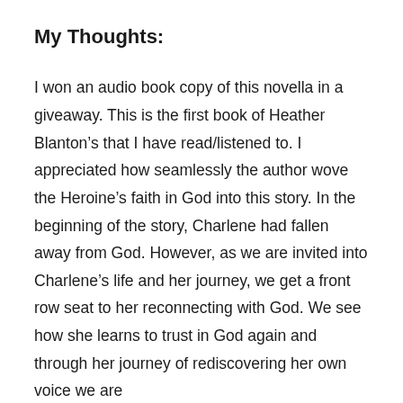My Thoughts:
I won an audio book copy of this novella in a giveaway. This is the first book of Heather Blanton’s that I have read/listened to. I appreciated how seamlessly the author wove the Heroine’s faith in God into this story. In the beginning of the story, Charlene had fallen away from God. However, as we are invited into Charlene’s life and her journey, we get a front row seat to her reconnecting with God. We see how she learns to trust in God again and through her journey of rediscovering her own voice we are